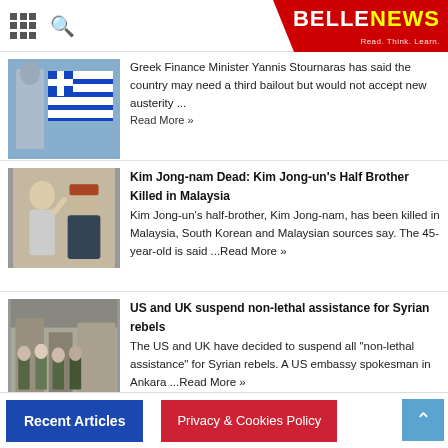BELLENEWS - Read. Think. Learn.
Greek Finance Minister Yannis Stournaras has said the country may need a third bailout but would not accept new austerity ... Read More »
Kim Jong-nam Dead: Kim Jong-un's Half Brother Killed in Malaysia
Kim Jong-un's half-brother, Kim Jong-nam, has been killed in Malaysia, South Korean and Malaysian sources say. The 45-year-old is said ...Read More »
US and UK suspend non-lethal assistance for Syrian rebels
The US and UK have decided to suspend all "non-lethal assistance" for Syrian rebels. A US embassy spokesman in Ankara ...Read More »
Recent Articles | Privacy & Cookies Policy